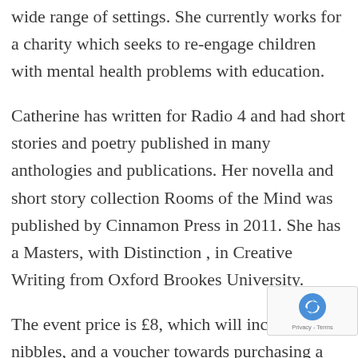wide range of settings. She currently works for a charity which seeks to re-engage children with mental health problems with education.
Catherine has written for Radio 4 and had short stories and poetry published in many anthologies and publications. Her novella and short story collection Rooms of the Mind was published by Cinnamon Press in 2011. She has a Masters, with Distinction , in Creative Writing from Oxford Brookes University.
The event price is £8, which will include wine, nibbles, and a voucher towards purchasing a novel  (£14.99 hardback)